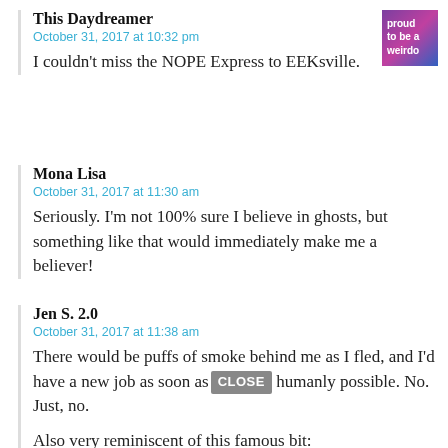This Daydreamer
October 31, 2017 at 10:32 pm
I couldn't miss the NOPE Express to EEKsville.
[Figure (illustration): Small square avatar image with purple/pink background and text 'proud to be a weirdo']
Mona Lisa
October 31, 2017 at 11:30 am
Seriously. I'm not 100% sure I believe in ghosts, but something like that would immediately make me a believer!
Jen S. 2.0
October 31, 2017 at 11:38 am
There would be puffs of smoke behind me as I fled, and I'd have a new job as soon as humanly possible. No. Just, no.
Also very reminiscent of this famous bit: